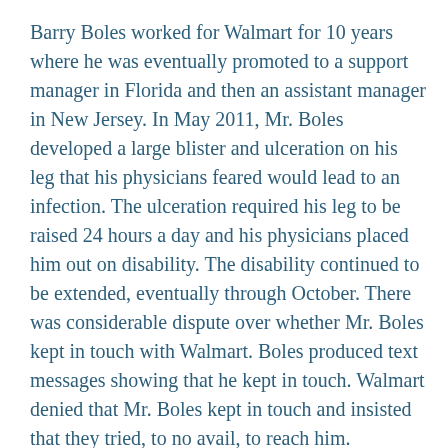Barry Boles worked for Walmart for 10 years where he was eventually promoted to a support manager in Florida and then an assistant manager in New Jersey. In May 2011, Mr. Boles developed a large blister and ulceration on his leg that his physicians feared would lead to an infection. The ulceration required his leg to be raised 24 hours a day and his physicians placed him out on disability. The disability continued to be extended, eventually through October. There was considerable dispute over whether Mr. Boles kept in touch with Walmart. Boles produced text messages showing that he kept in touch. Walmart denied that Mr. Boles kept in touch and insisted that they tried, to no avail, to reach him.
When Mr. Boles reported for work in October he